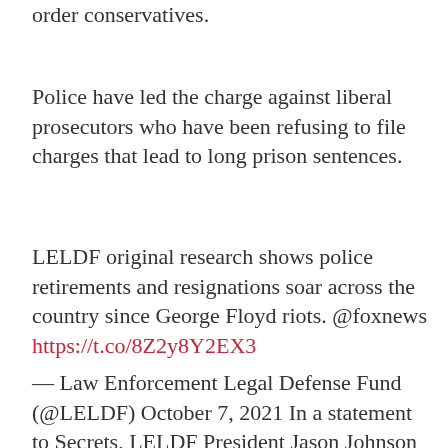order conservatives.
Police have led the charge against liberal prosecutors who have been refusing to file charges that lead to long prison sentences.
LELDF original research shows police retirements and resignations soar across the country since George Floyd riots. @foxnews https://t.co/8Z2y8Y2EX3
— Law Enforcement Legal Defense Fund (@LELDF) October 7, 2021 In a statement to Secrets, LELDF President Jason Johnson hit the